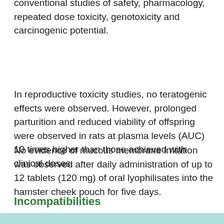Preclinical data reveal no special hazard based on conventional studies of safety, pharmacology, repeated dose toxicity, genotoxicity and carcinogenic potential.
In reproductive toxicity studies, no teratogenic effects were observed. However, prolonged parturition and reduced viability of offspring were observed in rats at plasma levels (AUC) 10 times higher than those achieved with clinical doses.
No evidence of mucous membrane irritation was observed after daily administration of up to 12 tablets (120 mg) of oral lyophilisates into the hamster cheek pouch for five days.
Incompatibilities